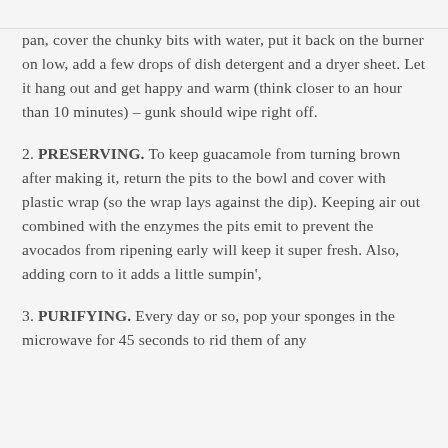pan, cover the chunky bits with water, put it back on the burner on low, add a few drops of dish detergent and a dryer sheet. Let it hang out and get happy and warm (think closer to an hour than 10 minutes) – gunk should wipe right off.
2. PRESERVING. To keep guacamole from turning brown after making it, return the pits to the bowl and cover with plastic wrap (so the wrap lays against the dip). Keeping air out combined with the enzymes the pits emit to prevent the avocados from ripening early will keep it super fresh. Also, adding corn to it adds a little sumpin',
3. PURIFYING. Every day or so, pop your sponges in the microwave for 45 seconds to rid them of any